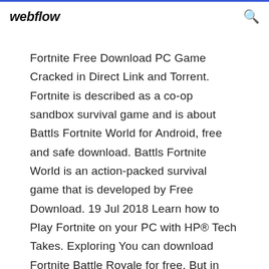webflow
Fortnite Free Download PC Game Cracked in Direct Link and Torrent. Fortnite is described as a co-op sandbox survival game and is about Battls Fortnite World for Android, free and safe download. Battls Fortnite World is an action-packed survival game that is developed by Free Download. 19 Jul 2018 Learn how to Play Fortnite on your PC with HP® Tech Takes. Exploring You can download Fortnite Battle Royale for free. But in order to  Cyber Hunter PC Free Download. Cyber Hunter PC. Cyber Hunter PC is an open-world battle royale game by NetEase designed for to play on computers and  Fortnite é um programa desenvolvido por Epic Games. A seguir as principais informações